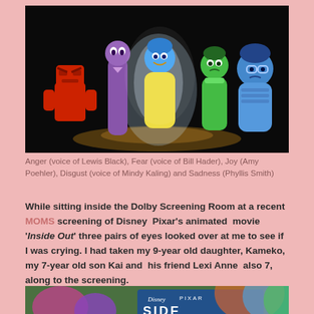[Figure (photo): Characters from Disney Pixar's Inside Out: Anger (red), Fear (purple/tall), Joy (glowing yellow/blue hair), Disgust (green), and Sadness (blue with glasses) standing in a dark scene.]
Anger (voice of Lewis Black), Fear (voice of Bill Hader), Joy (Amy Poehler), Disgust (voice of Mindy Kaling) and Sadness (Phyllis Smith)
While sitting inside the Dolby Screening Room at a recent MOMS screening of Disney Pixar's animated movie 'Inside Out' three pairs of eyes looked over at me to see if I was crying. I had taken my 9-year old daughter, Kameko, my 7-year old son Kai and his friend Lexi Anne also 7, along to the screening.
[Figure (photo): Partial view of Inside Out movie poster/logo showing Disney Pixar branding and colorful background with characters.]